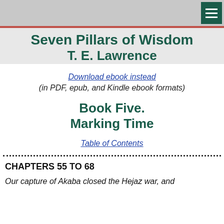Seven Pillars of Wisdom
T. E. Lawrence
Download ebook instead
(in PDF, epub, and Kindle ebook formats)
Book Five.
Marking Time
Table of Contents
CHAPTERS 55 TO 68
Our capture of Akaba closed the Hejaz war, and